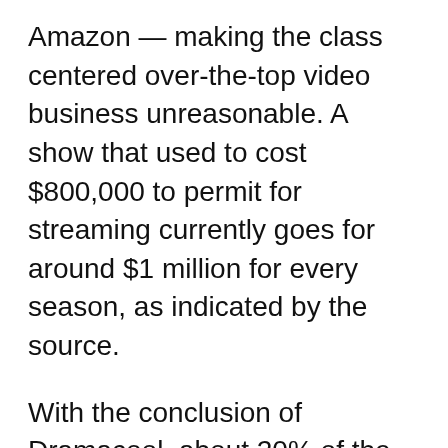Amazon — making the class centered over-the-top video business unreasonable. A show that used to cost $800,000 to permit for streaming currently goes for around $1 million for every season, as indicated by the source.
With the conclusion of Dramacool, about 20% of the unit's 110 representatives (or around 22) will be laid off.
The transition to shade Dramacool comes after AT&T's procurement of Time Warner and the development of WarnerMedia. A week ago,